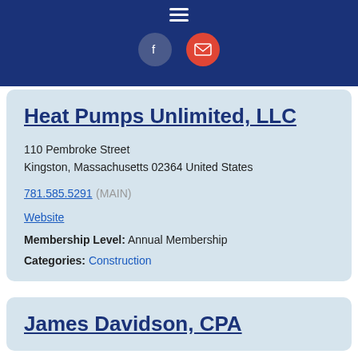[Figure (other): Dark blue navigation header bar with hamburger menu icon and two social media circles (Facebook in blue-grey, email in red)]
Heat Pumps Unlimited, LLC
110 Pembroke Street
Kingston, Massachusetts 02364 United States
781.585.5291 (MAIN)
Website
Membership Level: Annual Membership
Categories: Construction
James Davidson, CPA